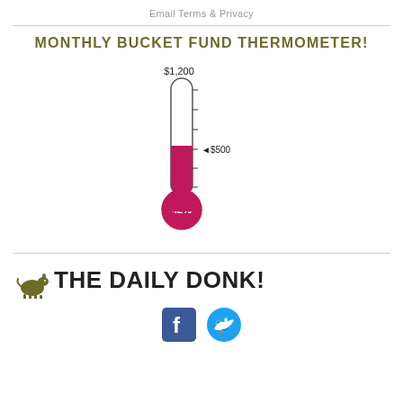Email Terms & Privacy
MONTHLY BUCKET FUND THERMOMETER!
[Figure (infographic): Thermometer fundraising gauge showing 42% filled (crimson/pink), with $1,200 goal at top and $500 marker at current level. Bulb at bottom shows '42%' text in white.]
[Figure (logo): The Daily Donk! logo with donkey silhouette icon followed by bold text 'THE DAILY DONK!']
[Figure (infographic): Facebook and Twitter social media icons in blue squares/circles at bottom]